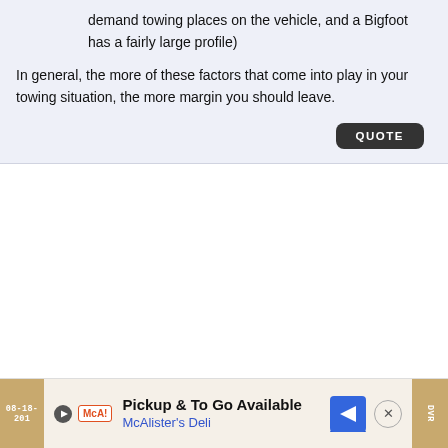demand towing places on the vehicle, and a Bigfoot has a fairly large profile)
In general, the more of these factors that come into play in your towing situation, the more margin you should leave.
[Figure (screenshot): QUOTE button in dark rounded rectangle]
[Figure (screenshot): Advertisement bar for McAlister's Deli - Pickup & To Go Available]